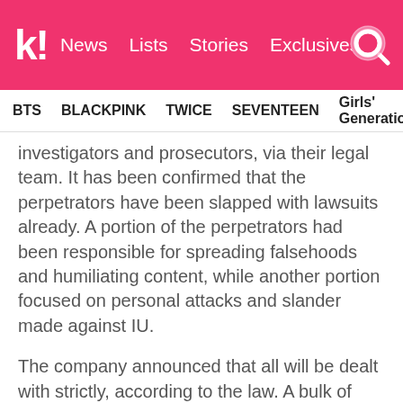k! News  Lists  Stories  Exclusives
BTS  BLACKPINK  TWICE  SEVENTEEN  Girls' Generation
investigators and prosecutors, via their legal team. It has been confirmed that the perpetrators have been slapped with lawsuits already. A portion of the perpetrators had been responsible for spreading falsehoods and humiliating content, while another portion focused on personal attacks and slander made against IU.
The company announced that all will be dealt with strictly, according to the law. A bulk of them will be slapped with fines and charges, without settlement.